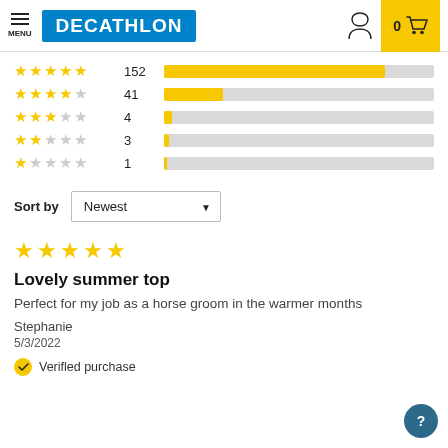DECATHLON — MENU | 0 cart
[Figure (bar-chart): Star rating distribution]
Sort by Newest
[Figure (other): 5 yellow stars rating]
Lovely summer top
Perfect for my job as a horse groom in the warmer months
Stephanie
5/3/2022
Verified purchase